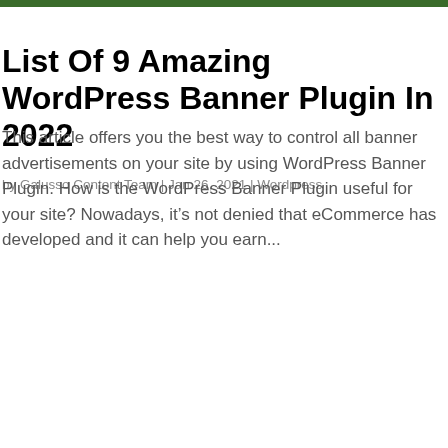List Of 9 Amazing WordPress Banner Plugin In 2022
by Galusso Content Team | Jan 26, 2021 | Wordpress
This article offers you the best way to control all banner advertisements on your site by using WordPress Banner Plugin. How is the WordPress Banner Plugin useful for your site? Nowadays, it’s not denied that eCommerce has developed and it can help you earn...